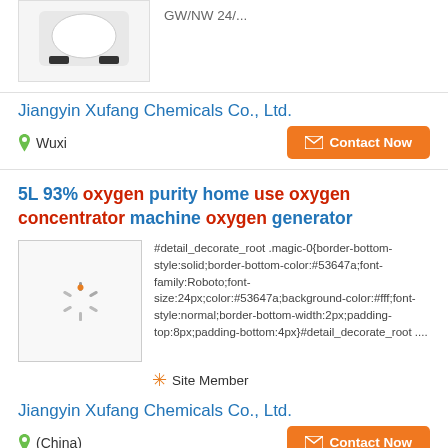[Figure (photo): Product image of a device on white background, partially cropped at top]
GW/NW 24/...
Jiangyin Xufang Chemicals Co., Ltd.
Wuxi
Contact Now
5L 93% oxygen purity home use oxygen concentrator machine oxygen generator
[Figure (photo): Loading spinner icon in product image box]
#detail_decorate_root .magic-0{border-bottom-style:solid;border-bottom-color:#53647a;font-family:Roboto;font-size:24px;color:#53647a;background-color:#fff;font-style:normal;border-bottom-width:2px;padding-top:8px;padding-bottom:4px}#detail_decorate_root ....
Site Member
Jiangyin Xufang Chemicals Co., Ltd.
(China)
Contact Now